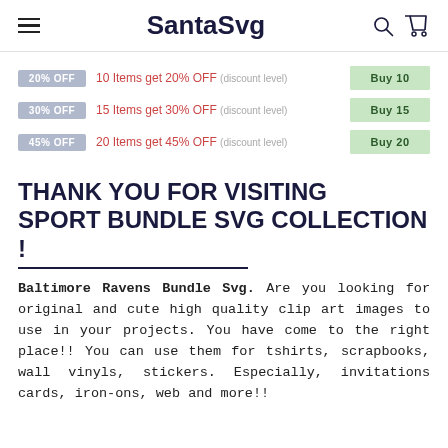SantaSvg
20% OFF  10 Items get 20% OFF (discount level)  Buy 10
30% OFF  15 Items get 30% OFF (discount level)  Buy 15
45% OFF  20 Items get 45% OFF (discount level)  Buy 20
THANK YOU FOR VISITING SPORT BUNDLE SVG COLLECTION !
Baltimore Ravens Bundle Svg. Are you looking for original and cute high quality clip art images to use in your projects. You have come to the right place!! You can use them for tshirts, scrapbooks, wall vinyls, stickers. Especially, invitations cards, iron-ons, web and more!!